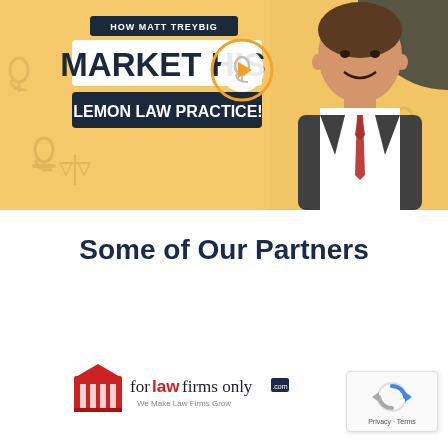[Figure (infographic): Promotional banner with orange/gold background showing podcast-style marketing graphic. Text reads 'HOW MATT TREYBIG', 'MARKET HIS', 'LEMON LAW PRACTICE!' with play button icon. Man in suit smiling on right side. Decorative microphone and scales of justice icons in background.]
Some of Our Partners
[Figure (logo): For Law Firms Only logo with red building/courthouse icon and text 'for law firms only' with tagline 'We Make Law Firms Grow' and '.com' badge]
[Figure (logo): Google reCAPTCHA badge with spinning arrows icon and 'Privacy - Terms' text]